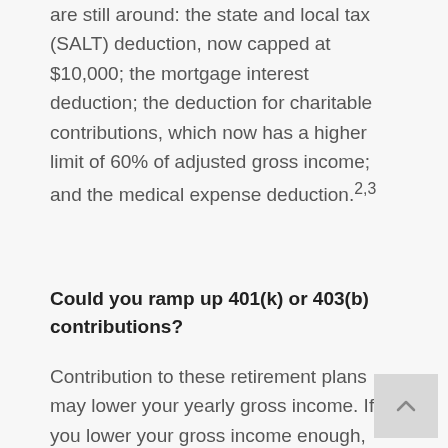are still around: the state and local tax (SALT) deduction, now capped at $10,000; the mortgage interest deduction; the deduction for charitable contributions, which now has a higher limit of 60% of adjusted gross income; and the medical expense deduction.2,3
Could you ramp up 401(k) or 403(b) contributions?
Contribution to these retirement plans may lower your yearly gross income. If you lower your gross income enough, you might be able to qualify for other tax credits or breaks available to those under